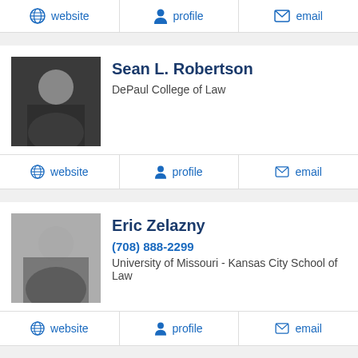[Figure (photo): Action bar with website, profile, email links (top, partial)]
[Figure (photo): Photo of Sean L. Robertson]
Sean L. Robertson
DePaul College of Law
website   profile   email
[Figure (photo): Photo of Eric Zelazny]
Eric Zelazny
(708) 888-2299
University of Missouri - Kansas City School of Law
website   profile   email
[Figure (photo): Photo of Anthony Rosario Perrelli]
Anthony Rosario Perrelli
(847) 913-5415